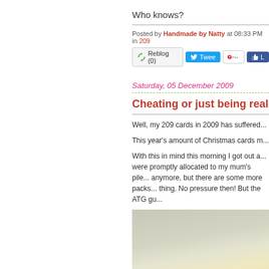Who knows?
Posted by Handmade by Natty at 08:33 PM in 209
Reblog (0)  Tweet  Pin it  Like
Saturday, 05 December 2009
Cheating or just being reali...
Well, my 209 cards in 2009 has suffered...
This year's amount of Christmas cards m...
With this in mind this morning I got out a... were promptly allocated to my mum's pile... anymore, but there are some more packs... thing. No pressure then! But the ATG gu...
[Figure (photo): Photo of handmade Christmas cards on a surface]